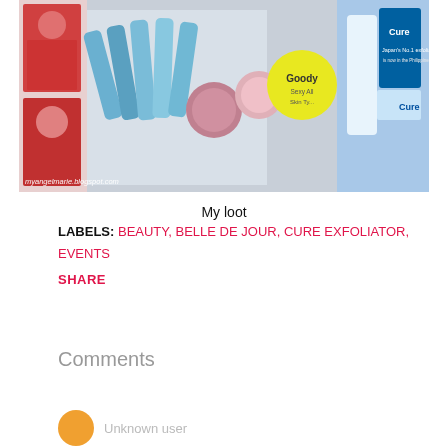[Figure (photo): Photo of various beauty products including creams, a Goody branded item, and a Cure exfoliator product laid out on a table, with photos of women visible on the left. Watermark reads myangelmarie.blogspot.com]
My loot
LABELS: BEAUTY, BELLE DE JOUR, CURE EXFOLIATOR, EVENTS
SHARE
Comments